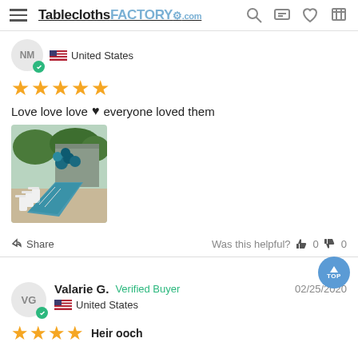TableclothsFACTORY.com
NM  United States
★★★★★
Love love love ♥ everyone loved them
[Figure (photo): Outdoor party setup with a long banquet table covered in teal/blue tablecloth, white chairs, and teal balloon arch decorations in the background.]
Share   Was this helpful?  👍 0  👎 0
Valarie G.  Verified Buyer  02/25/2020
VG  United States
★★★★  Heir ooch